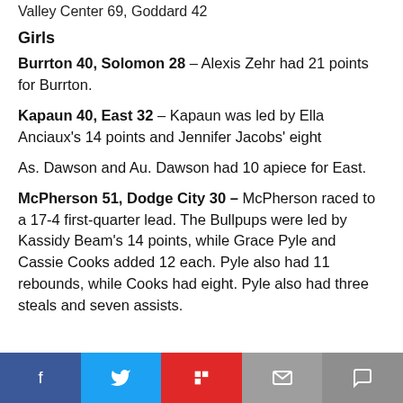Valley Center 69, Goddard 42
Girls
Burrton 40, Solomon 28 – Alexis Zehr had 21 points for Burrton.
Kapaun 40, East 32 – Kapaun was led by Ella Anciaux's 14 points and Jennifer Jacobs' eight
As. Dawson and Au. Dawson had 10 apiece for East.
McPherson 51, Dodge City 30 – McPherson raced to a 17-4 first-quarter lead. The Bullpups were led by Kassidy Beam's 14 points, while Grace Pyle and Cassie Cooks added 12 each. Pyle also had 11 rebounds, while Cooks had eight. Pyle also had three steals and seven assists.
Social sharing bar: Facebook, Twitter, Flipboard, Email, Comment